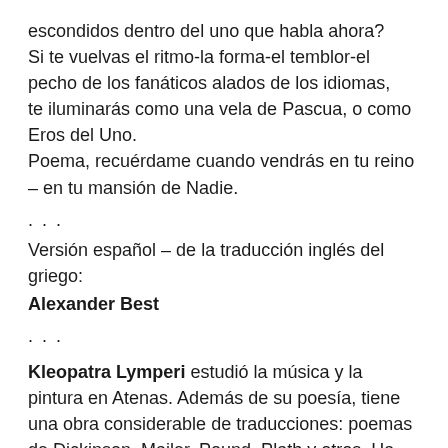escondidos dentro del uno que habla ahora?
Si te vuelvas el ritmo-la forma-el temblor-el pecho de los fanáticos alados de los idiomas,
te iluminarás como una vela de Pascua, o como Eros del Uno.
Poema, recuérdame cuando vendrás en tu reino – en tu mansión de Nadie.
. . .
Versión español – de la traducción inglés del griego:
Alexander Best
. . .
Kleopatra Lymperi estudió la música y la pintura en Atenas. Además de su poesía, tiene una obra considerable de traducciones: poemas de Dickinson, Mailer, Pound, Plath y otros. Ha contribuido al periódico